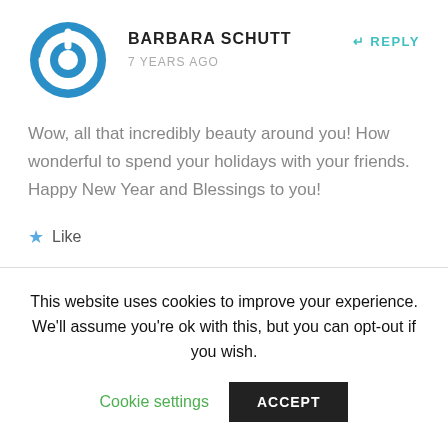[Figure (logo): Blue circular power/on button icon avatar for user Barbara Schutt]
BARBARA SCHUTT
7 YEARS AGO
REPLY
Wow, all that incredibly beauty around you! How wonderful to spend your holidays with your friends. Happy New Year and Blessings to you!
Like
This website uses cookies to improve your experience. We'll assume you're ok with this, but you can opt-out if you wish.
Cookie settings
ACCEPT